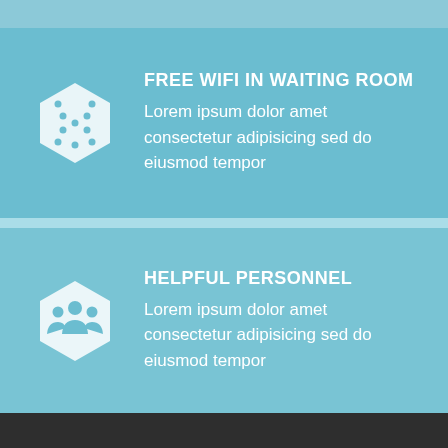FREE WIFI IN WAITING ROOM
Lorem ipsum dolor amet consectetur adipisicing sed do eiusmod tempor
HELPFUL PERSONNEL
Lorem ipsum dolor amet consectetur adipisicing sed do eiusmod tempor